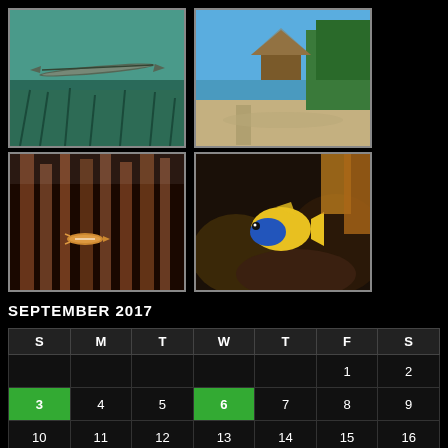[Figure (photo): Underwater photo of a long needlefish over green seagrass/coral reef]
[Figure (photo): Tropical beach scene with thatched shelter, sandy shore, calm blue water, and mangroves under blue sky]
[Figure (photo): Underwater close-up of a small orange-striped fish among coral/sea fans]
[Figure (photo): Underwater photo of a yellow and blue fish near dark coral reef structure]
SEPTEMBER 2017
| S | M | T | W | T | F | S |
| --- | --- | --- | --- | --- | --- | --- |
|  |  |  |  |  | 1 | 2 |
| 3 | 4 | 5 | 6 | 7 | 8 | 9 |
| 10 | 11 | 12 | 13 | 14 | 15 | 16 |